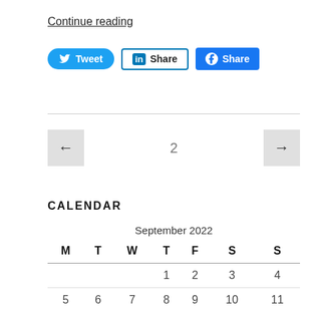Continue reading
[Figure (other): Social share buttons: Tweet (Twitter), Share (LinkedIn), Share (Facebook)]
[Figure (other): Pagination controls: left arrow, page number 2, right arrow]
CALENDAR
| M | T | W | T | F | S | S |
| --- | --- | --- | --- | --- | --- | --- |
|  |  |  | 1 | 2 | 3 | 4 |
| 5 | 6 | 7 | 8 | 9 | 10 | 11 |